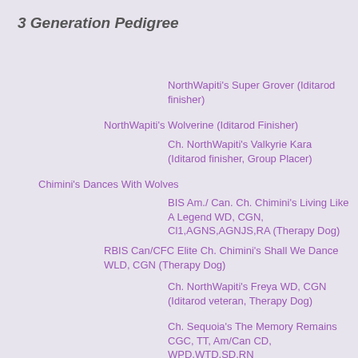3 Generation Pedigree
NorthWapiti's Super Grover (Iditarod finisher)
NorthWapiti's Wolverine (Iditarod Finisher)
Ch. NorthWapiti's Valkyrie Kara (Iditarod finisher, Group Placer)
Chimini's Dances With Wolves
BIS Am./ Can. Ch. Chimini's Living Like A Legend WD, CGN, Cl1,AGNS,AGNJS,RA (Therapy Dog)
RBIS Can/CFC Elite Ch. Chimini's Shall We Dance WLD, CGN (Therapy Dog)
Ch. NorthWapiti's Freya WD, CGN (Iditarod veteran, Therapy Dog)
Ch. Sequoia's The Memory Remains CGC, TT, Am/Can CD, WPD,WTD,SD,RN